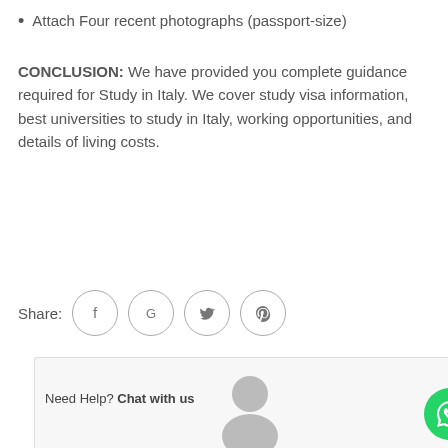Attach Four recent photographs (passport-size)
CONCLUSION: We have provided you complete guidance required for Study in Italy. We cover study visa information, best universities to study in Italy, working opportunities, and details of living costs.
Share: [Facebook] [Google] [Twitter] [Pinterest]
[Figure (screenshot): Bottom chat widget with 'Need Help? Chat with us' text and WhatsApp button, plus a user avatar silhouette]